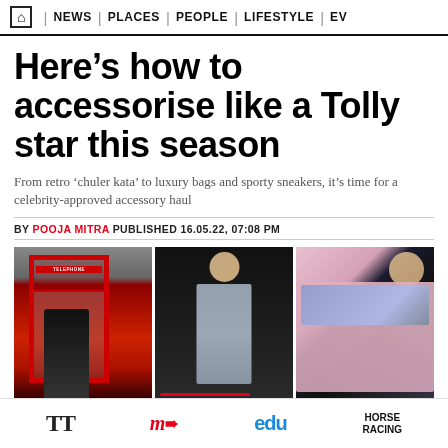🏠 | NEWS | PLACES | PEOPLE | LIFESTYLE | EV
Here's how to accessorise like a Tolly star this season
From retro 'chuler kata' to luxury bags and sporty sneakers, it's time for a celebrity-approved accessory haul
BY POOJA MITRA PUBLISHED 16.05.22, 07:08 PM
[Figure (photo): Three photos of Tollywood actresses: left - woman in black outfit in a red London telephone booth; center - woman in a silver/grey saree with hair accessory; right - woman in pink coat with navy turtleneck and silk scarf]
TT | my | edu | HORSE RACING